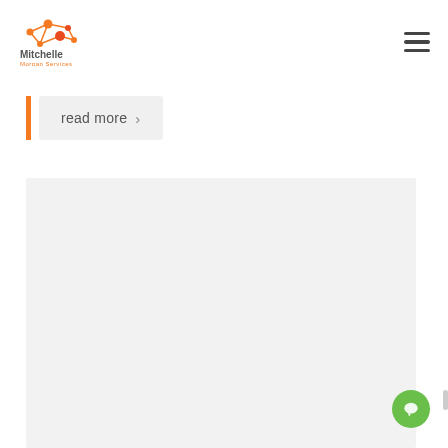[Figure (logo): Mitchelle Morgan Services logo with orange network node graphic above the company name]
read more >
[Figure (screenshot): Large light grey placeholder content block]
[Figure (other): Green chat bubble icon in bottom-right corner]